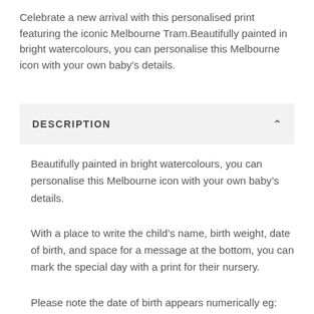Celebrate a new arrival with this personalised print featuring the iconic Melbourne Tram.Beautifully painted in bright watercolours, you can personalise this Melbourne icon with your own baby's details.
DESCRIPTION
Beautifully painted in bright watercolours, you can personalise this Melbourne icon with your own baby’s details.
With a place to write the child’s name, birth weight, date of birth, and space for a message at the bottom, you can mark the special day with a print for their nursery.
Please note the date of birth appears numerically eg: